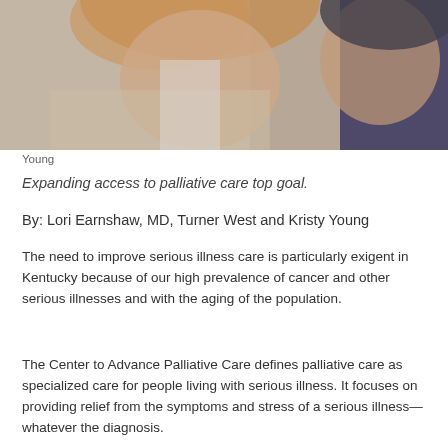[Figure (photo): Two women photographed together, one with reddish-blonde hair wearing a patterned jacket and the other wearing a dark jacket, close-up cropped portrait photo.]
Young
Expanding access to palliative care top goal.
By: Lori Earnshaw, MD, Turner West and Kristy Young
The need to improve serious illness care is particularly exigent in Kentucky because of our high prevalence of cancer and other serious illnesses and with the aging of the population.
The Center to Advance Palliative Care defines palliative care as specialized care for people living with serious illness. It focuses on providing relief from the symptoms and stress of a serious illness—whatever the diagnosis.